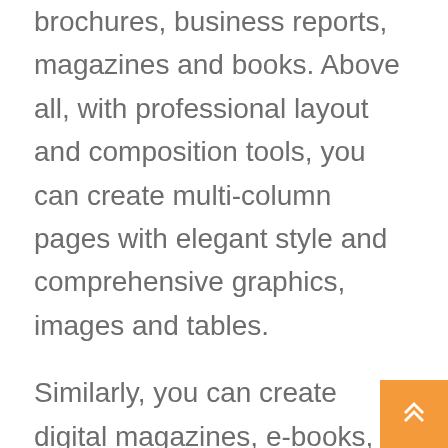brochures, business reports, magazines and books. Above all, with professional layout and composition tools, you can create multi-column pages with elegant style and comprehensive graphics, images and tables.
Similarly, you can create digital magazines, e-books, and interactive online materials that engage visitors with audio, video, slide shows, and animations. Plus, Adobe InDesign Key program makes it easy to manage your design elements and quickly deliver impressive experiences in any format. It allows you to design faster and smarter with collaboration tools. You can quickly make changes to paragraphs, characters, and